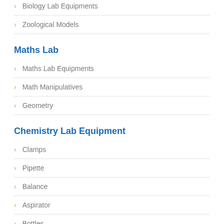Biology Lab Equipments
Zoological Models
Maths Lab
Maths Lab Equipments
Math Manipulatives
Geometry
Chemistry Lab Equipment
Clamps
Pipette
Balance
Aspirator
Bottles